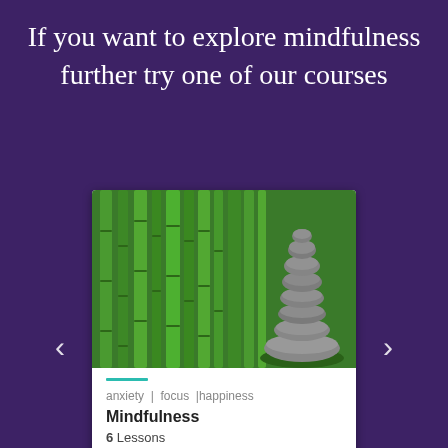If you want to explore mindfulness further try one of our courses
[Figure (photo): Stacked smooth grey stones balanced in a tower against a background of green bamboo stalks]
anxiety | focus | happiness
Mindfulness
6 Lessons